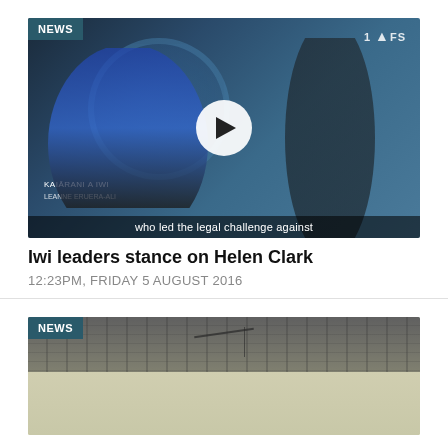[Figure (screenshot): Video thumbnail of a television news broadcast showing two presenters in a studio with a globe background. A white play button is centered. A subtitle reads 'who led the legal challenge against'. A NEWS badge is in the top-left corner.]
Iwi leaders stance on Helen Clark
12:23PM, FRIDAY 5 AUGUST 2016
[Figure (screenshot): Video thumbnail showing the roof and upper wall of a house, partially visible. A NEWS badge is in the top-left corner.]